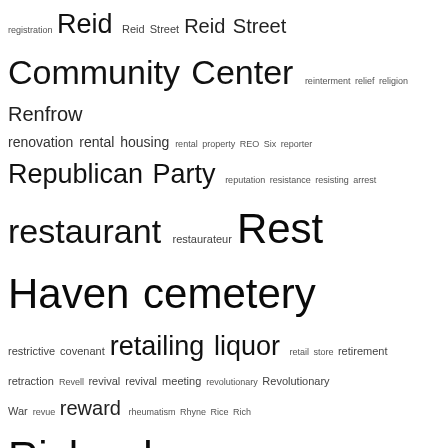registration Reid Reid Street Reid Street Community Center reinterment relief religion Renfrow renovation rental housing rental property REO Six reporter Republican Party reputation resistance resisting arrest restaurant restaurateur Rest Haven cemetery restrictive covenant retailing liquor retail store retirement retraction Revell revival revival meeting revolutionary Revolutionary War revue reward rheumatism Rhyne Rice Rich Richardson Richmond Richmond VA Ricker Ricks Riggins right of way Rigsley rivalry Rives road camp road duty road gang roadhouse road improvement road maintenance road map roads roadshow road work roadwork robbery Robbins Roberson Roberts Robeson County Robeson County NC Robeson Street Robins Robinson Rocky Mount NC Rodgers Rogers rooster rootwork Rose Rosemond Rosenwald school Ross Roundtree Rountree Rountree cemetery Rountree Place Rowe Royall Ruffin rummage sale rumor runaway runaway slave Russell Rutherford Ruth Whitehead Whaley